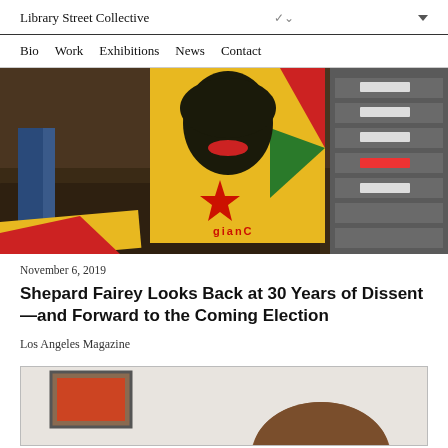Library Street Collective
Bio  Work  Exhibitions  News  Contact
[Figure (photo): Shepard Fairey artwork leaning against shelving in a workshop, featuring a stylized face of a woman in yellow, black and red with a star emblem reading 'Giant', along with other colorful printed artwork pieces on the floor.]
November 6, 2019
Shepard Fairey Looks Back at 30 Years of Dissent—and Forward to the Coming Election
Los Angeles Magazine
[Figure (photo): Partial view of a person with brown/reddish hair, with artwork visible on wall behind them, partially cropped at bottom of page.]